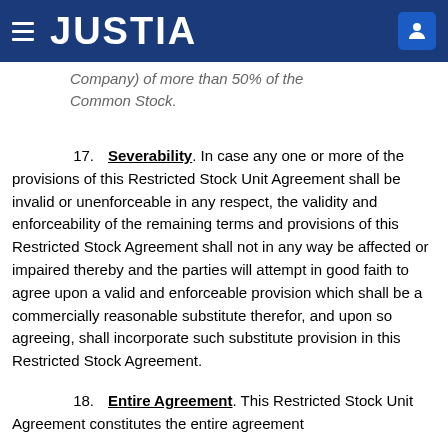JUSTIA
Company) of more than 50% of the Common Stock.
17. Severability. In case any one or more of the provisions of this Restricted Stock Unit Agreement shall be invalid or unenforceable in any respect, the validity and enforceability of the remaining terms and provisions of this Restricted Stock Agreement shall not in any way be affected or impaired thereby and the parties will attempt in good faith to agree upon a valid and enforceable provision which shall be a commercially reasonable substitute therefor, and upon so agreeing, shall incorporate such substitute provision in this Restricted Stock Agreement.
18. Entire Agreement. This Restricted Stock Unit Agreement constitutes the entire agreement